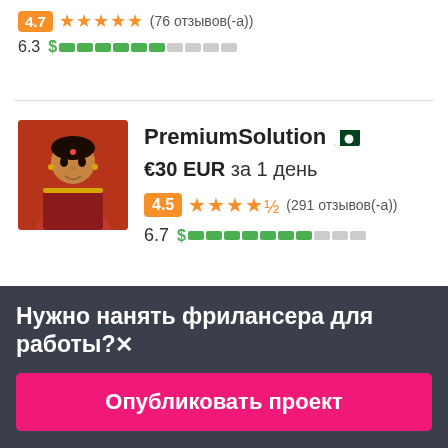4.7 (76 отзывов(-а))
6.3  $ ████████░░
PremiumSolution 🇵🇰
€30 EUR за 1 день
4.5  ★★★★½  (291 отзывов(-а))
6.7  $ ████████░░
Нужно нанять фрилансера для работы?✕
Опубликовать проект